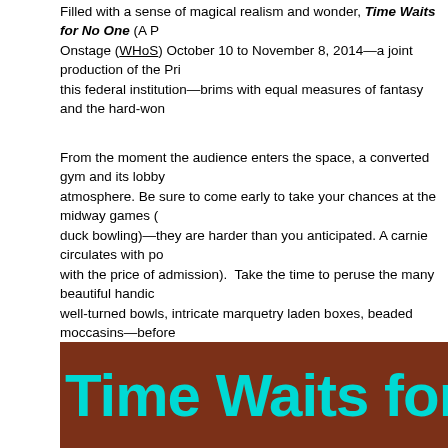Filled with a sense of magical realism and wonder, Time Waits for No One (A P... Onstage (WHoS) October 10 to November 8, 2014—a joint production of the Pri... this federal institution—brims with equal measures of fantasy and the hard-won...
From the moment the audience enters the space, a converted gym and its lobby... atmosphere. Be sure to come early to take your chances at the midway games (... duck bowling)—they are harder than you anticipated. A carnie circulates with po... with the price of admission). Take the time to peruse the many beautiful handicr... well-turned bowls, intricate marquetry laden boxes, beaded moccasins—before...
What was once a utilitarian gym has been transformed into the world of the amu... draperies and hangings adorn the walls and are suspended from the ceiling. In t... sided structure represents the carousel. Staging is in the round—as if seated u...
Time Waits for No One is loosely based on Mitch Albom's book The Five People... old man at the end of his life, forced to take a look at how his actions affected th...
It maintains the central character Eddie and the amusement park as a setting.
[Figure (photo): Brown/orange background with large teal/cyan text reading 'Time Waits for N' (cropped)]